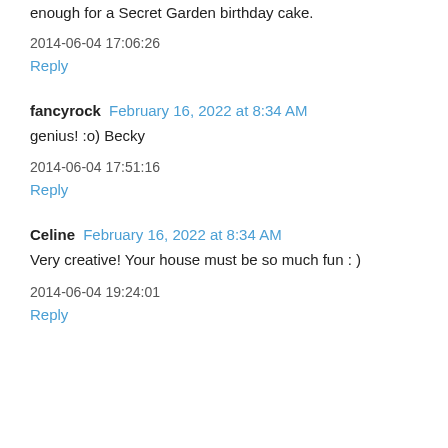enough for a Secret Garden birthday cake.
2014-06-04 17:06:26
Reply
fancyrock  February 16, 2022 at 8:34 AM
genius! :o) Becky
2014-06-04 17:51:16
Reply
Celine  February 16, 2022 at 8:34 AM
Very creative! Your house must be so much fun : )
2014-06-04 19:24:01
Reply